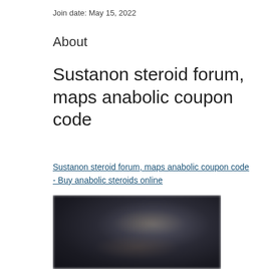Join date: May 15, 2022
About
Sustanon steroid forum, maps anabolic coupon code
Sustanon steroid forum, maps anabolic coupon code - Buy anabolic steroids online
[Figure (photo): Dark blurred photograph, appears to show figures or objects in low lighting conditions]